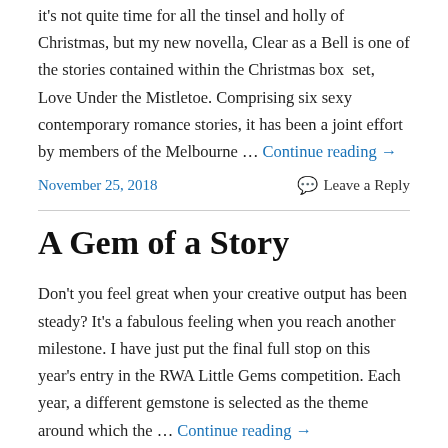it's not quite time for all the tinsel and holly of Christmas, but my new novella, Clear as a Bell is one of the stories contained within the Christmas box set, Love Under the Mistletoe. Comprising six sexy contemporary romance stories, it has been a joint effort by members of the Melbourne … Continue reading →
November 25, 2018   Leave a Reply
A Gem of a Story
Don't you feel great when your creative output has been steady? It's a fabulous feeling when you reach another milestone. I have just put the final full stop on this year's entry in the RWA Little Gems competition. Each year, a different gemstone is selected as the theme around which the … Continue reading →